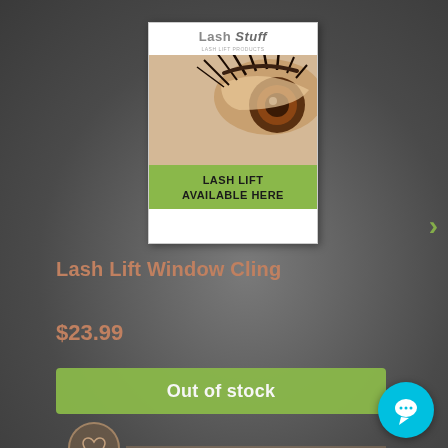[Figure (photo): Product image of Lash Lift Window Cling showing Lash Stuff logo at top, close-up eye with dramatic lashes, and green banner reading LASH LIFT AVAILABLE HERE]
Lash Lift Window Cling
$23.99
Out of stock